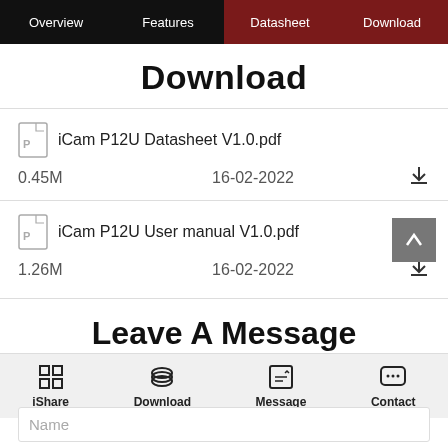Overview | Features | Datasheet | Download
Download
iCam P12U Datasheet V1.0.pdf — 0.45M — 16-02-2022
iCam P12U User manual V1.0.pdf — 1.26M — 16-02-2022
Leave A Message
iShare | Download | Message | Contact
Name